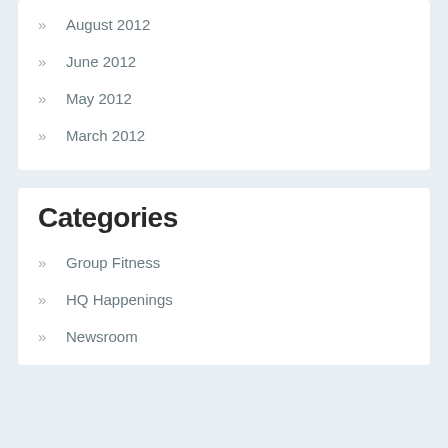August 2012
June 2012
May 2012
March 2012
Categories
Group Fitness
HQ Happenings
Newsroom